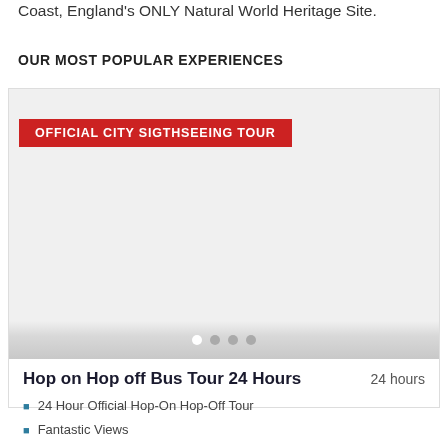Coast, England's ONLY Natural World Heritage Site.
OUR MOST POPULAR EXPERIENCES
[Figure (photo): Card with red badge reading OFFICIAL CITY SIGTHSEEING TOUR over a large image area with carousel navigation dots at the bottom]
Hop on Hop off Bus Tour 24 Hours
24 hours
24 Hour Official Hop-On Hop-Off Tour
Fantastic Views